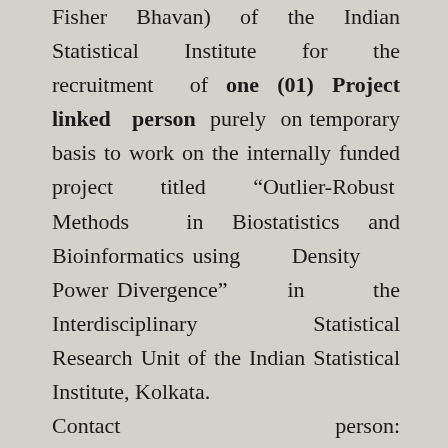Fisher Bhavan) of the Indian Statistical Institute for the recruitment of one (01) Project linked person purely on temporary basis to work on the internally funded project titled “Outlier-Robust Methods in Biostatistics and Bioinformatics using Density Power Divergence” in the Interdisciplinary Statistical Research Unit of the Indian Statistical Institute, Kolkata.
Contact person: Interdisciplinary Statistical Research Unit